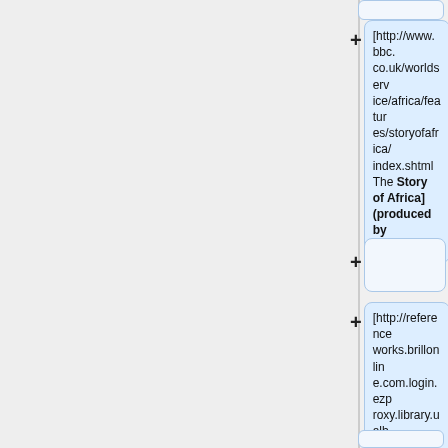[http://www.bbc.co.uk/worldservice/africa/features/storyofafrica/index.shtml The Story of Africa] (produced by the BBC)
[http://referenceworks.brillonline.com.login.ezproxy.library.ualberta.ca/browse/african-studies-companion-online Brill's African Studies Companion]